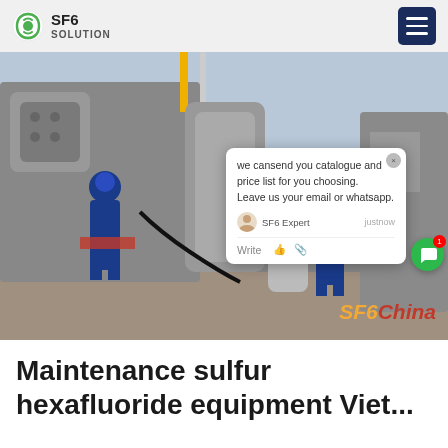SF6 SOLUTION
[Figure (photo): Two workers in blue coveralls and blue hard hats working on large industrial SF6 gas equipment/transformers outdoors. A gas cylinder labeled SF6 is visible. An overlaid chat popup reads: 'we cansend you catalogue and price list for you choosing. Leave us your email or whatsapp.' with SF6 Expert label and 'justnow' timestamp. SF6China watermark in bottom right.]
Maintenance sulfur hexafluoride equipment Viet...